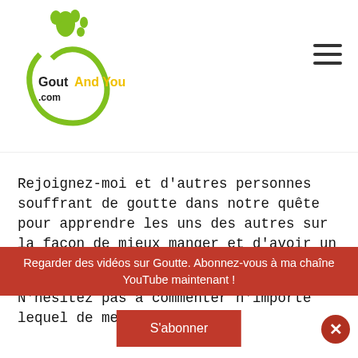[Figure (logo): Gout And You .com logo with green footprint and cursive green swirl, text 'Gout' in black bold, 'And You' in yellow bold, '.com' in black]
Rejoignez-moi et d'autres personnes souffrant de goutte dans notre quête pour apprendre les uns des autres sur la façon de mieux manger et d'avoir un mode de vie plus sain!
N'hésitez pas à commenter n'importe lequel de mes messages
Regarder des vidéos sur Goutte. Abonnez-vous à ma chaîne YouTube maintenant !
S'abonner